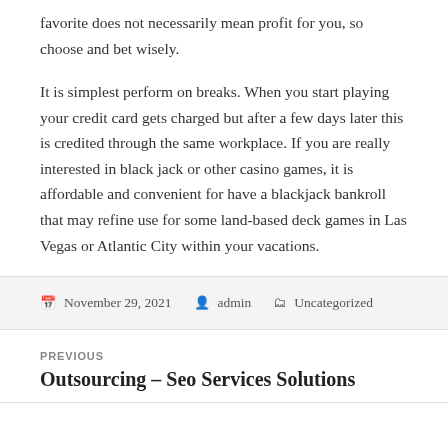favorite does not necessarily mean profit for you, so choose and bet wisely.
It is simplest perform on breaks. When you start playing your credit card gets charged but after a few days later this is credited through the same workplace. If you are really interested in black jack or other casino games, it is affordable and convenient for have a blackjack bankroll that may refine use for some land-based deck games in Las Vegas or Atlantic City within your vacations.
November 29, 2021   admin   Uncategorized
PREVIOUS
Outsourcing – Seo Services Solutions